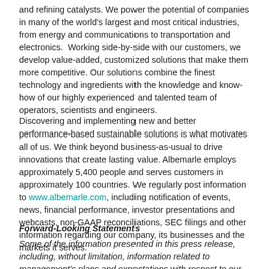and refining catalysts. We power the potential of companies in many of the world's largest and most critical industries, from energy and communications to transportation and electronics. Working side-by-side with our customers, we develop value-added, customized solutions that make them more competitive. Our solutions combine the finest technology and ingredients with the knowledge and know-how of our highly experienced and talented team of operators, scientists and engineers.
Discovering and implementing new and better performance-based sustainable solutions is what motivates all of us. We think beyond business-as-usual to drive innovations that create lasting value. Albemarle employs approximately 5,400 people and serves customers in approximately 100 countries. We regularly post information to www.albemarle.com, including notification of events, news, financial performance, investor presentations and webcasts, non-GAAP reconciliations, SEC filings and other information regarding our company, its businesses and the markets it serves.
Forward-Looking Statements
Some of the information presented in this press release, including, without limitation, information related to management's plans and expectations with respect to our Chile operations, expected benefits and impacts of our